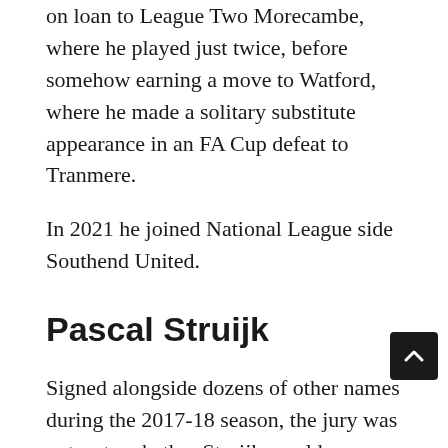on loan to League Two Morecambe, where he played just twice, before somehow earning a move to Watford, where he made a solitary substitute appearance in an FA Cup defeat to Tranmere.
In 2021 he joined National League side Southend United.
Pascal Struijk
Signed alongside dozens of other names during the 2017-18 season, the jury was out as to whether Struijk would ever make the step up to the first team or just fill out the youth ranks.
As a regular for Carlos Corberan's Under-23s, the young Dutchman had the composure on the ball that you might expect of a former Ajax academy player, featuring regularly as they won the Professional Development League Group North in 2018-19.
For good he represented lots of...